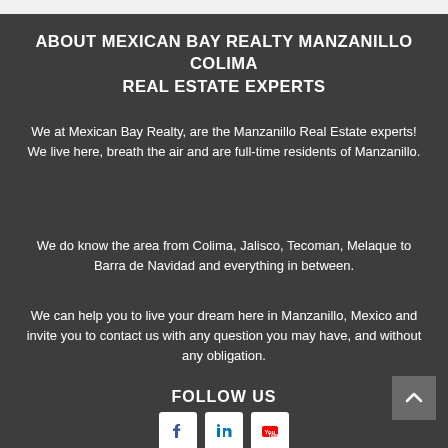ABOUT MEXICAN BAY REALTY MANZANILLO COLIMA REAL ESTATE EXPERTS
We at Mexican Bay Realty, are the Manzanillo Real Estate experts! We live here, breath the air and are full-time residents of Manzanillo.
We do know the area from Colima, Jalisco, Tecoman, Melaque to Barra de Navidad and everything in between.
We can help you to live your dream here in Manzanillo, Mexico and invite you to contact us with any question you may have, and without any obligation.
FOLLOW US
[Figure (other): Social media icons: Facebook, LinkedIn, YouTube]